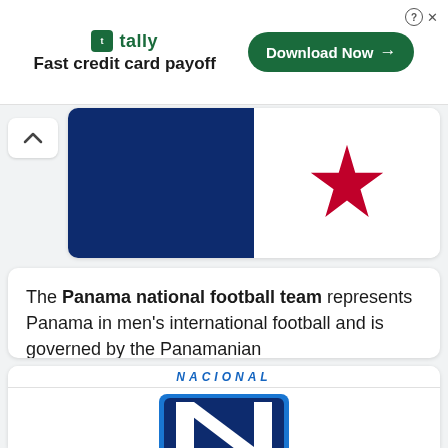[Figure (screenshot): Tally advertisement banner. Shows Tally logo with 'Fast credit card payoff' tagline and a 'Download Now' button with arrow, on white background. Close/info icons top right.]
[Figure (illustration): Panama national flag showing dark navy blue upper-left quadrant and white upper-right quadrant with a red star, partial view (cropped top).]
The Panama national football team represents Panama in men's international football and is governed by the Panamanian
[Figure (logo): Panama national football team crest/logo — shield with dark navy background, blue border, and a large white diagonal stripe forming an 'N' shape, with partial header text visible above in blue italic letters.]